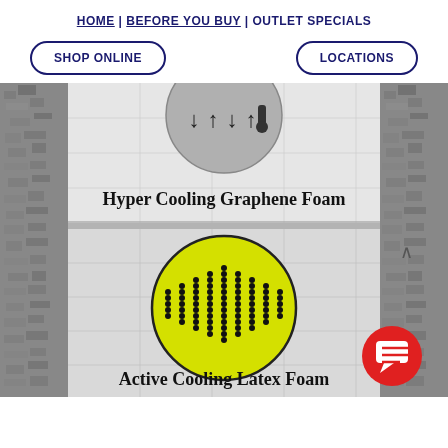HOME | BEFORE YOU BUY | OUTLET SPECIALS
SHOP ONLINE
LOCATIONS
[Figure (illustration): Mattress cross-section diagram showing layers. Top portion shows a gray circle badge with temperature/airflow icons (arrows and thermometer). Below is a light gray foam layer labeled 'Hyper Cooling Graphene Foam'. Then another layer with a yellow circle showing a perforated dot pattern (Active Cooling Latex Foam). A red chat bubble button appears at bottom right. A scroll-up arrow appears at right center.]
Hyper Cooling Graphene Foam
Active Cooling Latex Foam